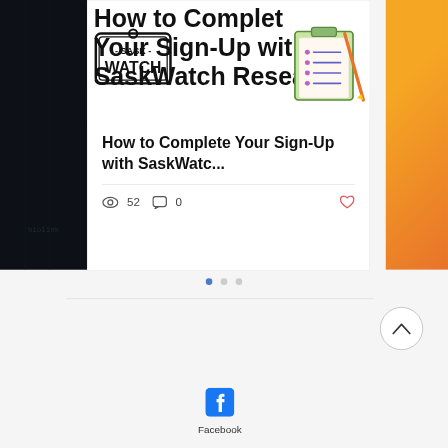[Figure (screenshot): A blog post card showing a SaskWatch Research article titled 'How to Complete Your Sign-Up with SaskWatch Research'. The card includes a header image with the SaskWatch logo/badge on the left and a clipboard illustration on the right, the article title text, a horizontal divider, and metadata showing 52 views, 0 comments, and a heart/like icon. Below the card are carousel pagination dots (3 dots, first one active/blue). A 'back to top' circular button with a chevron-up arrow appears on the right. At the bottom is a Facebook social link section with the Facebook logo icon and the text 'Facebook'.]